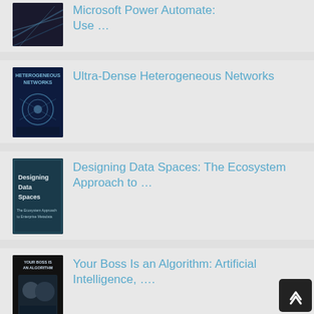[Figure (illustration): Book cover for Microsoft Power Automate (partial, dark background with abstract lines)]
Microsoft Power Automate: Use …
[Figure (illustration): Book cover for Ultra-Dense Heterogeneous Networks (dark blue with city/network graphic)]
Ultra-Dense Heterogeneous Networks
[Figure (illustration): Book cover for Designing Data Spaces: The Ecosystem Approach to … (dark teal background)]
Designing Data Spaces: The Ecosystem Approach to …
[Figure (illustration): Book cover for Your Boss Is an Algorithm: Artificial Intelligence, … (dark background with two people)]
Your Boss Is an Algorithm: Artificial Intelligence, ….
[Figure (illustration): Book cover for Safety and Security of Cyber-Physical Systems: Engineering … (orange/red gradient)]
Safety and Security of Cyber-Physical Systems: Engineering …